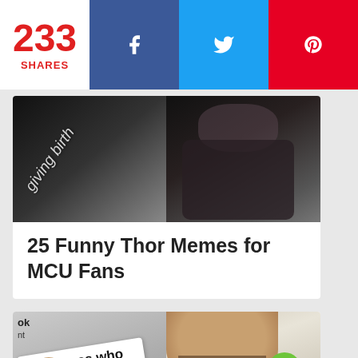233 SHARES | Facebook | Twitter | Pinterest
[Figure (photo): Two-panel image: left panel shows dark silhouette with text 'giving birth', right panel shows person in dark clothing]
25 Funny Thor Memes for MCU Fans
[Figure (photo): Two-panel image: left panel shows person holding sign reading 'you guess who has cracking up today!' with people in blue shirts, right panel shows bearded man holding a green parrot with woman in background]